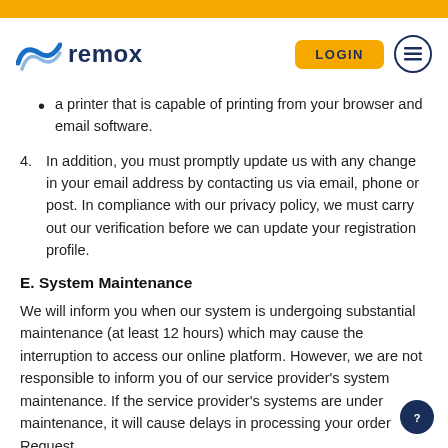[Figure (logo): Remox company logo with blue wave/arc icon and bold dark blue text 'remox']
a printer that is capable of printing from your browser and email software.
4. In addition, you must promptly update us with any change in your email address by contacting us via email, phone or post. In compliance with our privacy policy, we must carry out our verification before we can update your registration profile.
E. System Maintenance
We will inform you when our system is undergoing substantial maintenance (at least 12 hours) which may cause the interruption to access our online platform. However, we are not responsible to inform you of our service provider's system maintenance. If the service provider's systems are under maintenance, it will cause delays in processing your order Request.